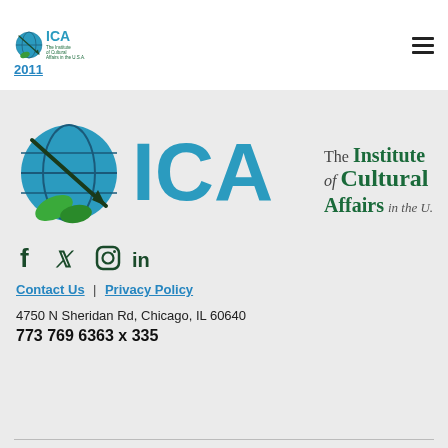[Figure (logo): ICA - The Institute of Cultural Affairs in the U.S.A. small logo in top navigation bar]
2011
[Figure (logo): Large ICA - The Institute of Cultural Affairs in the U.S.A. logo with globe and leaf icon]
[Figure (infographic): Social media icons: Facebook, Twitter, Instagram, LinkedIn in dark green]
Contact Us | Privacy Policy
4750 N Sheridan Rd, Chicago, IL 60640
773 769 6363 x 335